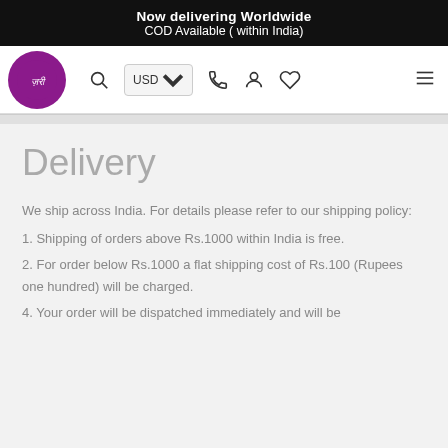Now delivering Worldwide
COD Available ( within India)
[Figure (logo): Purple circular logo with white script text, e-commerce brand logo]
Delivery
We ship across India. For details please refer to our shipping policy:
1. Shipping of orders above Rs.1000 within India is free.
2. For order below Rs.1000 a flat shipping cost of Rs.100 (Rupees one hundred) will be charged.
4. Your order will be dispatched immediately and will be